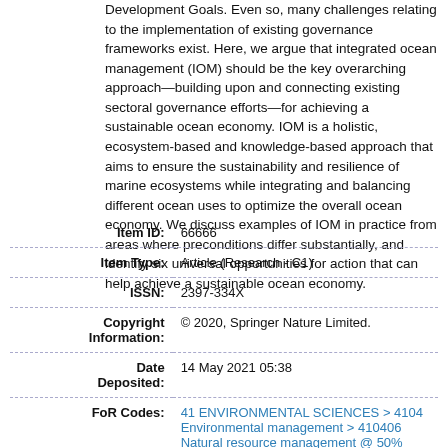Development Goals. Even so, many challenges relating to the implementation of existing governance frameworks exist. Here, we argue that integrated ocean management (IOM) should be the key overarching approach—building upon and connecting existing sectoral governance efforts—for achieving a sustainable ocean economy. IOM is a holistic, ecosystem-based and knowledge-based approach that aims to ensure the sustainability and resilience of marine ecosystems while integrating and balancing different ocean uses to optimize the overall ocean economy. We discuss examples of IOM in practice from areas where preconditions differ substantially, and identify six universal opportunities for action that can help achieve a sustainable ocean economy.
| Field | Value |
| --- | --- |
| Item ID: | 66666 |
| Item Type: | Article (Research - C1) |
| ISSN: | 2397-334X |
| Copyright Information: | © 2020, Springer Nature Limited. |
| Date Deposited: | 14 May 2021 05:38 |
| FoR Codes: | 41 ENVIRONMENTAL SCIENCES > 4104
Environmental management > 410406
Natural resource management @ 50% |